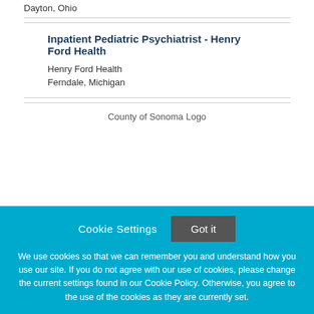Dayton, Ohio
Inpatient Pediatric Psychiatrist - Henry Ford Health
Henry Ford Health
Ferndale, Michigan
[Figure (logo): County of Sonoma Logo placeholder image]
Cookie Settings
Got it
We use cookies so that we can remember you and understand how you use our site. If you do not agree with our use of cookies, please change the current settings found in our Cookie Policy. Otherwise, you agree to the use of the cookies as they are currently set.